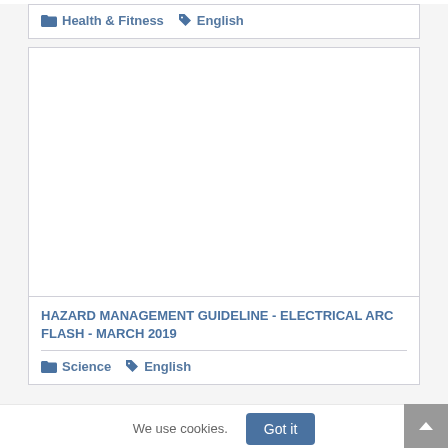Health & Fitness  English
[Figure (other): White empty image placeholder inside a card]
HAZARD MANAGEMENT GUIDELINE - ELECTRICAL ARC FLASH - MARCH 2019
Science  English
We use cookies.  Got it